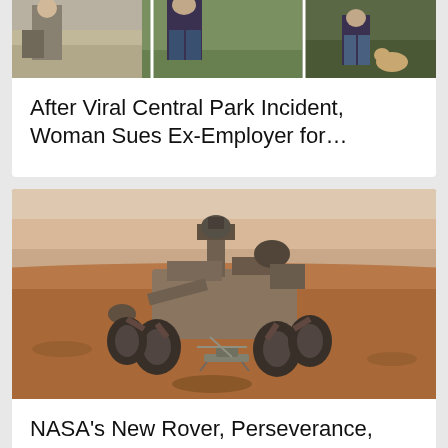[Figure (photo): Partial photo at top showing people in a park or outdoor setting, cropped]
After Viral Central Park Incident, Woman Sues Ex-Employer for…
[Figure (photo): NASA Perseverance Mars rover on the Martian surface with a small helicopter visible beneath it, reddish-brown landscape]
NASA's New Rover, Perseverance, Successfully Lands on Mars